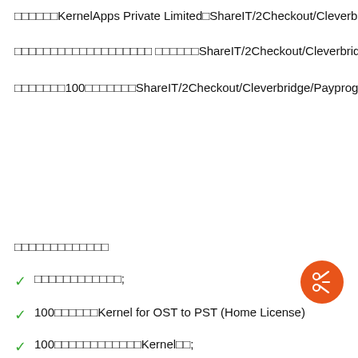□□□□□□KernelApps Private Limited□ShareIT/2Checkout/Cleverb…
□□□□□□□□□□□□□□□□□□□ □□□□□□ShareIT/2Checkout/Cleverbridge/Pa…
□□□□□□□100□□□□□□□ShareIT/2Checkout/Cleverbridge/Payproglobal…
□□□□□□□□□□□□□
□□□□□□□□□□□□;
100□□□□□□Kernel for OST to PST (Home License)
100□□□□□□□□□□□□Kernel□□;
[Figure (other): Orange circular FAB button with scissors icon]